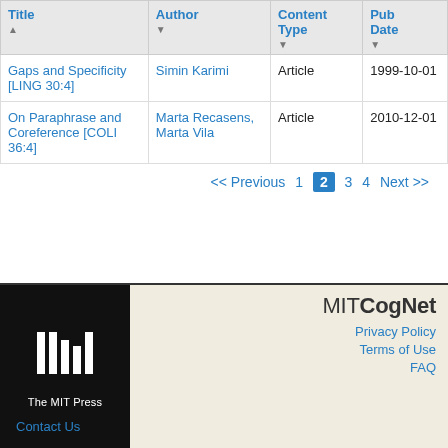| Title ▲ | Author ▼ | Content Type ▼ | Pub Date ▼ |
| --- | --- | --- | --- |
| Gaps and Specificity [LING 30:4] | Simin Karimi | Article | 1999-10-01 |
| On Paraphrase and Coreference [COLI 36:4] | Marta Recasens, Marta Vila | Article | 2010-12-01 |
<< Previous  1  2  3  4  Next >>
[Figure (logo): The MIT Press logo - vertical white bars on black background with 'The MIT Press' text]
MITCogNet
Privacy Policy
Terms of Use
Contact Us
FAQ